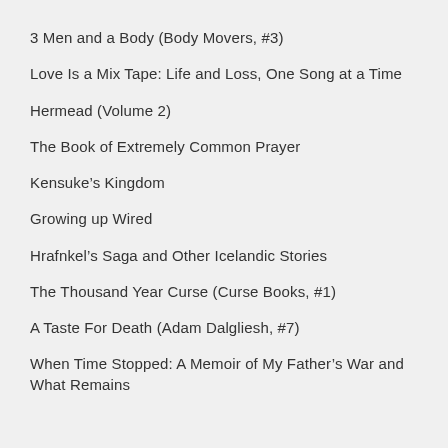3 Men and a Body (Body Movers, #3)
Love Is a Mix Tape: Life and Loss, One Song at a Time
Hermead (Volume 2)
The Book of Extremely Common Prayer
Kensuke’s Kingdom
Growing up Wired
Hrafnkel’s Saga and Other Icelandic Stories
The Thousand Year Curse (Curse Books, #1)
A Taste For Death (Adam Dalgliesh, #7)
When Time Stopped: A Memoir of My Father’s War and What Remains